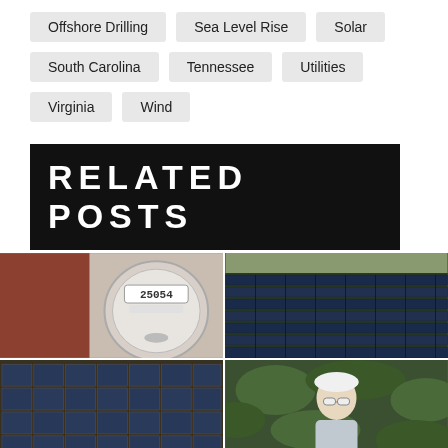Offshore Drilling
Sea Level Rise
Solar
South Carolina
Tennessee
Utilities
Virginia
Wind
RELATED POSTS
[Figure (photo): Close-up of an electric utility meter mounted on a brick wall]
[Figure (photo): Aerial view of solar panel arrays in a field]
[Figure (photo): Close-up of solar panels]
[Figure (photo): Worker wearing a hard hat and safety glasses standing outdoors]